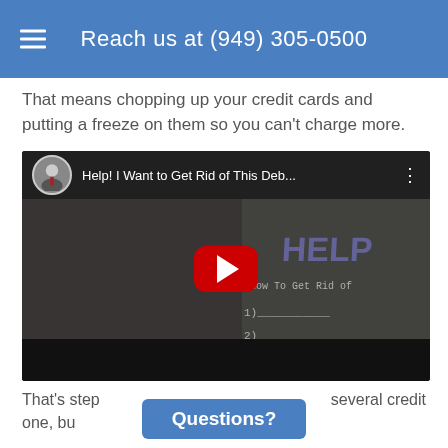Reach us at (949) 305-0500
That means chopping up your credit cards and putting a freeze on them so you can't charge more.
[Figure (screenshot): YouTube video thumbnail showing a man in a gray shirt with 'HELP' written on a whiteboard behind him. Title reads 'Help! I Want to Get Rid of This Deb...' with a red play button in the center.]
Questions?
That's step one, bu...several credit